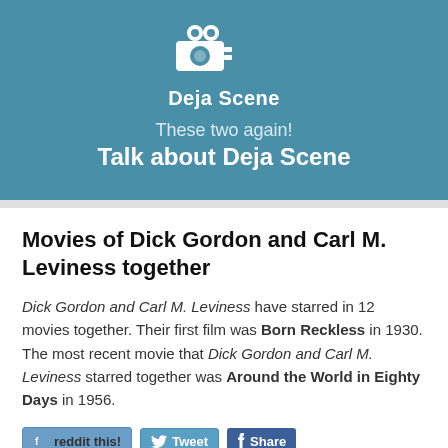[Figure (logo): Deja Scene logo with movie camera icon in white on teal/steel blue background, with text 'Deja Scene' below the icon]
These two again! Talk about Deja Scene
Movies of Dick Gordon and Carl M. Leviness together
Dick Gordon and Carl M. Leviness have starred in 12 movies together. Their first film was Born Reckless in 1930. The most recent movie that Dick Gordon and Carl M. Leviness starred together was Around the World in Eighty Days in 1956.
[Figure (other): Social sharing buttons: reddit this!, Tweet, Share]